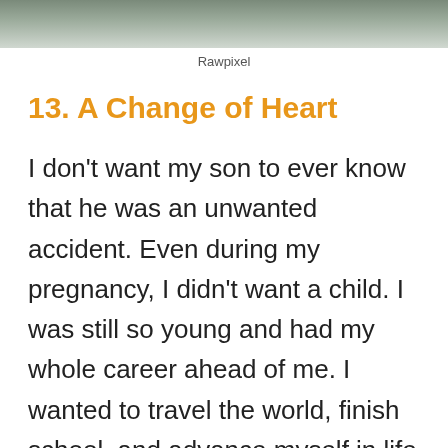[Figure (photo): Partial photo of a person, cropped at top of page]
Rawpixel
13. A Change of Heart
I don't want my son to ever know that he was an unwanted accident. Even during my pregnancy, I didn't want a child. I was still so young and had my whole career ahead of me. I wanted to travel the world, finish school, and advance myself in life to the fullest. After he was born, I had some trouble adjusting, and it took me a long